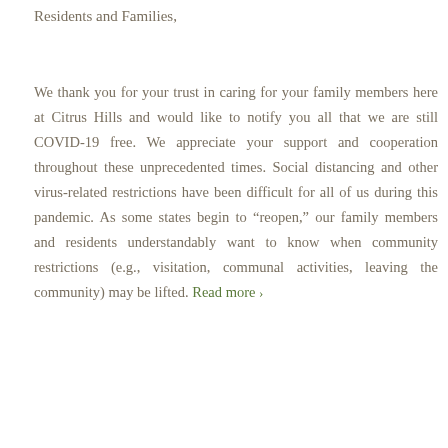Residents and Families,
We thank you for your trust in caring for your family members here at Citrus Hills and would like to notify you all that we are still COVID-19 free. We appreciate your support and cooperation throughout these unprecedented times. Social distancing and other virus-related restrictions have been difficult for all of us during this pandemic. As some states begin to “reopen,” our family members and residents understandably want to know when community restrictions (e.g., visitation, communal activities, leaving the community) may be lifted. Read more ›